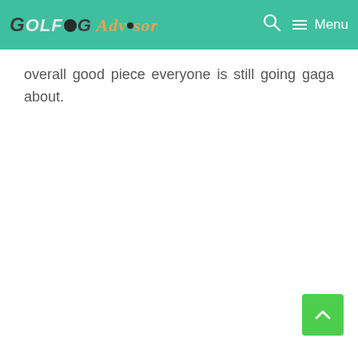GolfBogAdvisor — Menu
overall good piece everyone is still going gaga about.